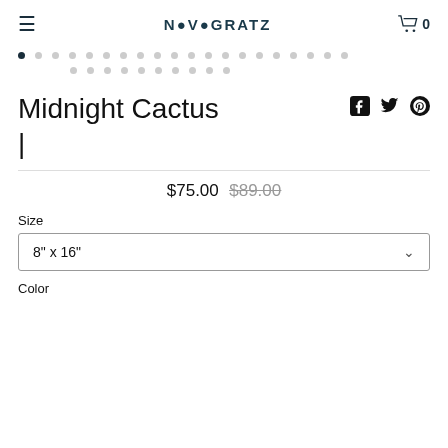≡  NOVOGRATZ  🛒 0
[Figure (other): Carousel pagination dots: one filled dark dot followed by many light grey dots in two rows]
Midnight Cactus
$75.00  $89.00
Size
8" x 16"
Color